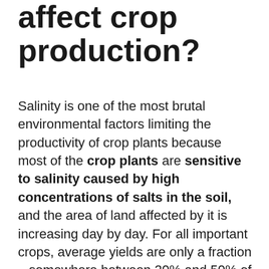affect crop production?
Salinity is one of the most brutal environmental factors limiting the productivity of crop plants because most of the crop plants are sensitive to salinity caused by high concentrations of salts in the soil, and the area of land affected by it is increasing day by day. For all important crops, average yields are only a fraction – somewhere between 20% and 50% of record yields; these losses are mostly due to drought and high soil salinity, environmental conditions which will worsen in many regions because of global climate change. A wide range of adaptations and mitigation strategies are required to cope with such